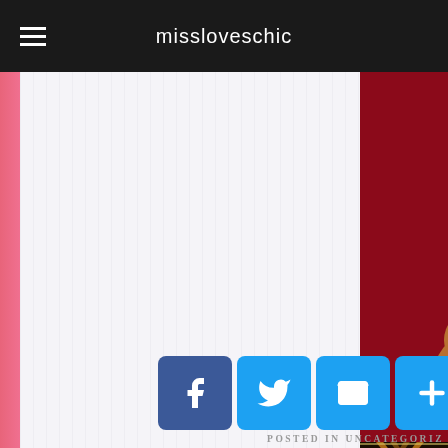missloveschic
[Figure (photo): Blog post image showing two cats on a dark red background with a large white circular shape, and a decorative gold/brown diamond pattern band below]
My de
[Figure (infographic): Social sharing buttons: Facebook, Twitter, Email, and Add/Plus buttons in blue rounded squares]
POSTED IN UNCATEGORIZ